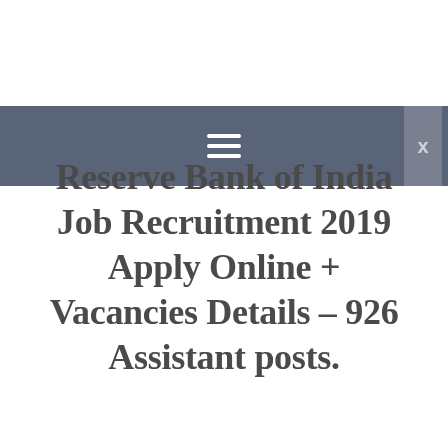≡  ×
Reserve Bank of India Job Recruitment 2019 Apply Online + Vacancies Details – 926 Assistant posts.